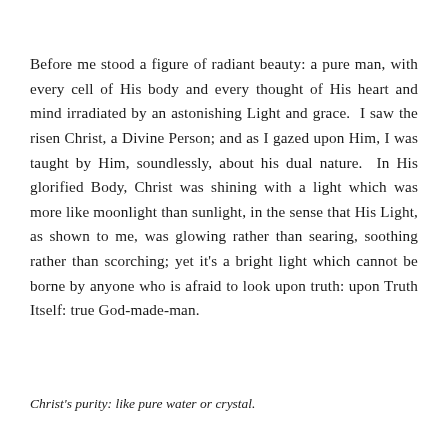Before me stood a figure of radiant beauty: a pure man, with every cell of His body and every thought of His heart and mind irradiated by an astonishing Light and grace.  I saw the risen Christ, a Divine Person; and as I gazed upon Him, I was taught by Him, soundlessly, about his dual nature.  In His glorified Body, Christ was shining with a light which was more like moonlight than sunlight, in the sense that His Light, as shown to me, was glowing rather than searing, soothing rather than scorching; yet it's a bright light which cannot be borne by anyone who is afraid to look upon truth: upon Truth Itself: true God-made-man.
Christ's purity: like pure water or crystal.